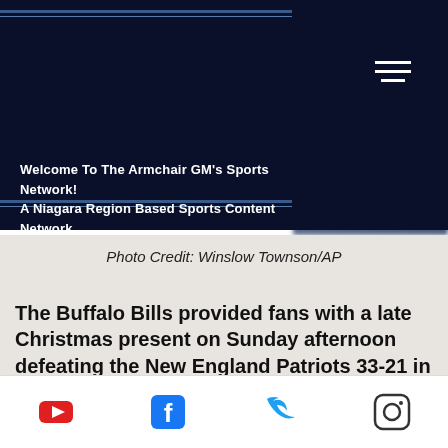Welcome To The Armchair GM's Sports Network! A Niagara Region Based Sports Content Network
Photo Credit: Winslow Townson/AP
The Buffalo Bills provided fans with a late Christmas present on Sunday afternoon defeating the New England Patriots 33-21 in Foxborough. With the win, the Bills improve to 9-6 on the season and currently sit atop the AFC
Social media icons: YouTube, Facebook, Twitter, Instagram